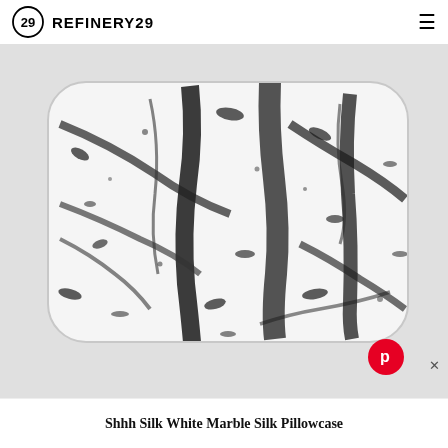REFINERY29
[Figure (photo): A silk pillowcase with white and black marble print pattern, rectangular shaped with rounded corners, photographed on a light grey background. A red Pinterest button and an X close button are visible in the lower right corner.]
Shhh Silk White Marble Silk Pillowcase